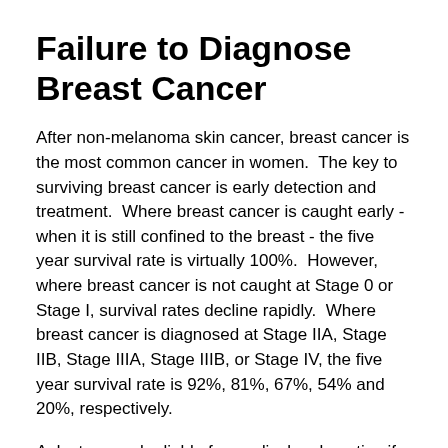Failure to Diagnose Breast Cancer
After non-melanoma skin cancer, breast cancer is the most common cancer in women.  The key to surviving breast cancer is early detection and treatment.  Where breast cancer is caught early - when it is still confined to the breast - the five year survival rate is virtually 100%.  However, where breast cancer is not caught at Stage 0 or Stage I, survival rates decline rapidly.  Where breast cancer is diagnosed at Stage IIA, Stage IIB, Stage IIIA, Stage IIIB, or Stage IV, the five year survival rate is 92%, 81%, 67%, 54% and 20%, respectively.
A doctor may be liable for medical malpractice if he or she, given the opportunity to diagnose breast cancer, fails to make the appropriate diagnosis, or when he or